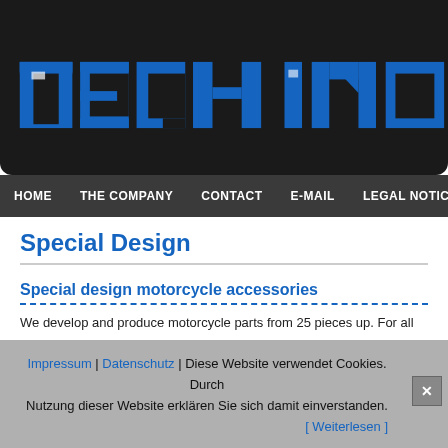[Figure (logo): Dark header banner with blue block-letter logo text partially visible (TECH IN... style)]
HOME | THE COMPANY | CONTACT | E-MAIL | LEGAL NOTICE
Special Design
Special design motorcycle accessories
We develop and produce motorcycle parts from 25 pieces up. For all parts we can wish grinded and polished) or powder coating. Stock keeping and delivery we mak
We are certified DIN EN ISO 9001.
H...
Impressum | Datenschutz | Diese Website verwendet Cookies. Durch Nutzung dieser Website erklären Sie sich damit einverstanden. [ Weiterlesen ]